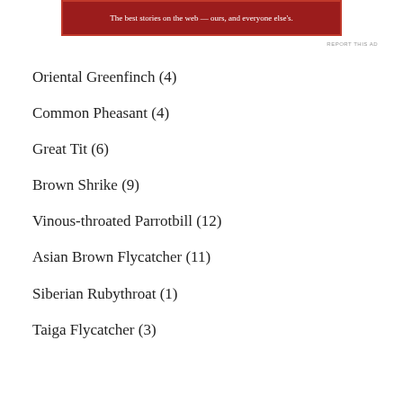[Figure (other): Red advertisement banner with white text: 'The best stories on the web — ours, and everyone else's.']
REPORT THIS AD
Oriental Greenfinch (4)
Common Pheasant (4)
Great Tit (6)
Brown Shrike (9)
Vinous-throated Parrotbill (12)
Asian Brown Flycatcher (11)
Siberian Rubythroat (1)
Taiga Flycatcher (3)